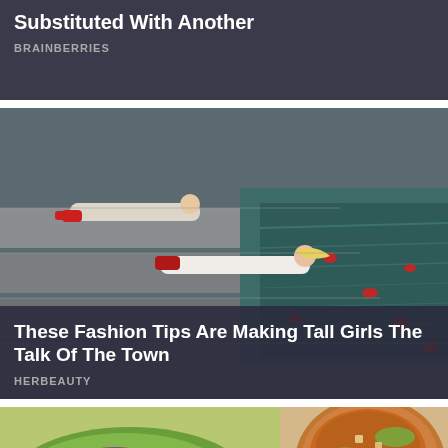Substituted With Another
BRAINBERRIES
[Figure (photo): Two women in fashion clothing lying on concrete steps next to a pool of water with red flower petals floating in it]
These Fashion Tips Are Making Tall Girls The Talk Of The Town
HERBEAUTY
[Figure (photo): Fresh lettuce wrap filled with colorful vegetables (purple cabbage, carrots) next to a bowl of dipping sauce]